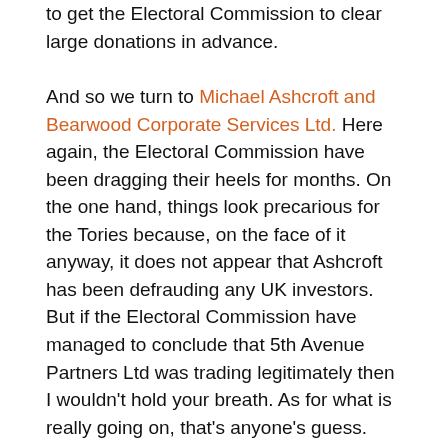to get the Electoral Commission to clear large donations in advance.
And so we turn to Michael Ashcroft and Bearwood Corporate Services Ltd. Here again, the Electoral Commission have been dragging their heels for months. On the one hand, things look precarious for the Tories because, on the face of it anyway, it does not appear that Ashcroft has been defrauding any UK investors. But if the Electoral Commission have managed to conclude that 5th Avenue Partners Ltd was trading legitimately then I wouldn't hold your breath. As for what is really going on, that's anyone's guess.
Note: I was a member of the Lib Dems' Federal Executive from January 2003 until I resigned in November 2005. I was a member of the Federal Finance and Administration Committee from February 2005 until my resignation from the FE.